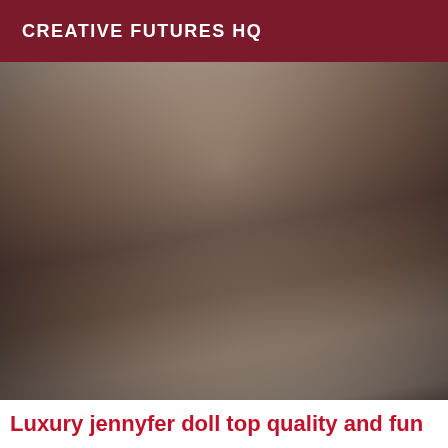CREATIVE FUTURES HQ
[Figure (photo): Person posing on a bed wearing lingerie and stockings]
Luxury jennyfer doll top quality and fun